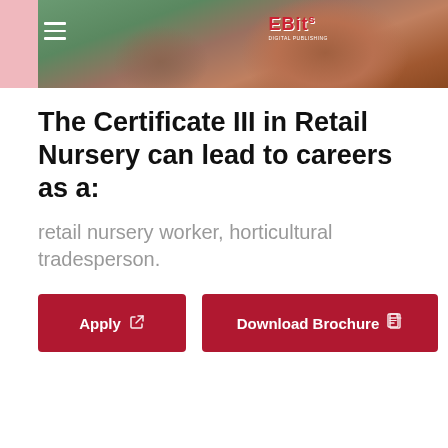[Figure (photo): Header photo showing a person in a purple long-sleeve shirt and green apron working with reddish-brown soil or growing medium, set against a pink background. A logo is visible in the center of the image.]
The Certificate III in Retail Nursery can lead to careers as a:
retail nursery worker, horticultural tradesperson.
Apply
Download Brochure